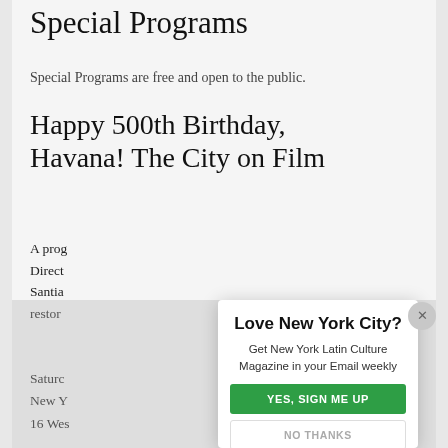Special Programs
Special Programs are free and open to the public.
Happy 500th Birthday, Havana! The City on Film
A prog
Direct
Santia
restor
Saturc
New Y
16 Wes
[Figure (screenshot): Email signup modal overlay with title 'Love New York City?', body text 'Get New York Latin Culture Magazine in your Email weekly', green 'YES, SIGN ME UP' button, and grey 'NO THANKS' button. A close (X) button appears in top right.]